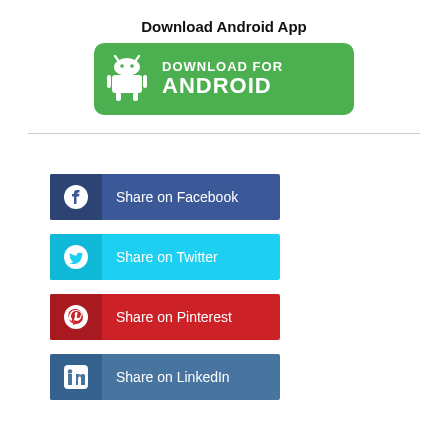Download Android App
[Figure (illustration): Green rounded rectangle button with Android robot icon on left and text 'DOWNLOAD FOR ANDROID' in white uppercase bold lettering]
[Figure (illustration): Share on Facebook button - dark blue rectangle with white Facebook circle-f logo icon on left and text 'Share on Facebook']
[Figure (illustration): Share on Twitter button - cyan/light blue rectangle with white Twitter bird icon on left and text 'Share on Twitter']
[Figure (illustration): Share on Pinterest button - red rectangle with white Pinterest circle-P logo icon on left and text 'Share on Pinterest']
[Figure (illustration): Share on LinkedIn button - steel blue rectangle with white LinkedIn 'in' logo on left and text 'Share on LinkedIn']